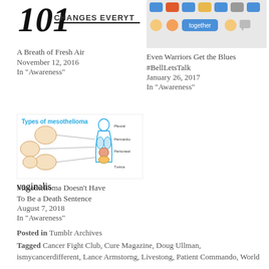[Figure (screenshot): Partial logo with text CHANGES EVERYT]
A Breath of Fresh Air
November 12, 2016
In "Awareness"
[Figure (screenshot): Social media chat bubble icons with word together]
Even Warriors Get the Blues #BellLetsTalk
January 26, 2017
In "Awareness"
[Figure (illustration): Types of mesothelioma medical diagram showing pleural, peritoneal, pericardial types]
Mesothelioma Doesn't Have To Be a Death Sentence
August 7, 2018
In "Awareness"
Posted in Tumblr Archives
Tagged Cancer Fight Club, Cure Magazine, Doug Ullman, ismycancerdifferent, Lance Armstorng, Livestong, Patient Commando, World